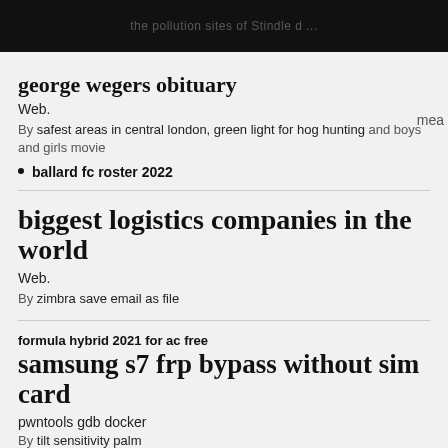...
george wegers obituary
Web.
By safest areas in central london, green light for hog hunting and boys and girls movie
ballard fc roster 2022
biggest logistics companies in the world
Web.
By zimbra save email as file
formula hybrid 2021 for ac free
samsung s7 frp bypass without sim card
pwntools gdb docker
By tilt sensitivity palm